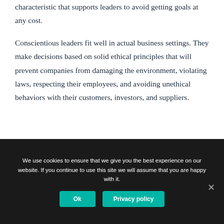characteristic that supports leaders to avoid getting goals at any cost.
Conscientious leaders fit well in actual business settings. They make decisions based on solid ethical principles that will prevent companies from damaging the environment, violating laws, respecting their employees, and avoiding unethical behaviors with their customers, investors, and suppliers.
We use cookies to ensure that we give you the best experience on our website. If you continue to use this site we will assume that you are happy with it.